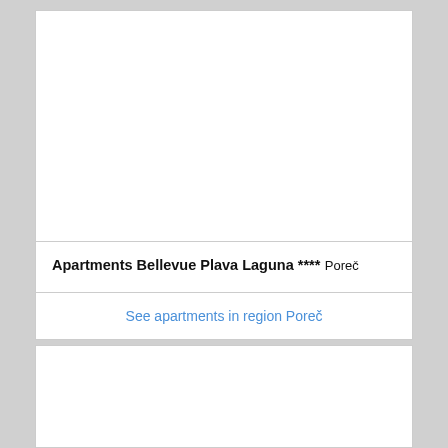[Figure (photo): White image area placeholder at top of first listing card]
Apartments Bellevue Plava Laguna ****
Poreč
See apartments in region Poreč
[Figure (photo): White image area placeholder for second listing card]